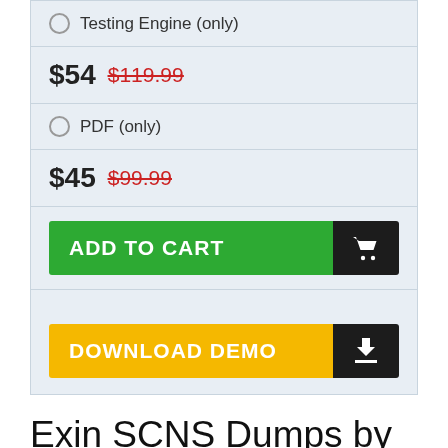Testing Engine (only)
$54  $119.99
PDF (only)
$45  $99.99
[Figure (screenshot): ADD TO CART button (green) with shopping cart icon (dark)]
[Figure (screenshot): DOWNLOAD DEMO button (yellow/orange) with download icon (dark)]
Exin SCNS Dumps by